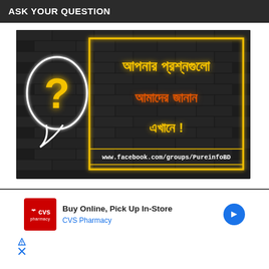ASK YOUR QUESTION
[Figure (photo): Neon-style image on dark brick background showing a speech bubble with a question mark and Bengali text reading 'আপনার প্রশ্নগুলো আমাদের জানান এখানে!' with URL www.facebook.com/groups/PureinfoBD at the bottom]
[Figure (infographic): CVS Pharmacy advertisement: 'Buy Online, Pick Up In-Store' with CVS logo and blue arrow icon]